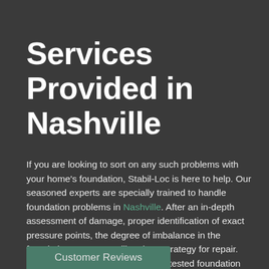Services Provided in Nashville
If you are looking to sort on any such problems with your home's foundation, Stabil-Loc is here to help. Our seasoned experts are specially trained to handle foundation problems in Nashville. After an in-depth assessment of damage, proper identification of exact pressure points, the degree of imbalance in the foundation, our team will make a strategy for repair. Finally, we will install our tried and tested foundation pier system to bring your foundation back to life by stabilizing it.
Customer Reviews